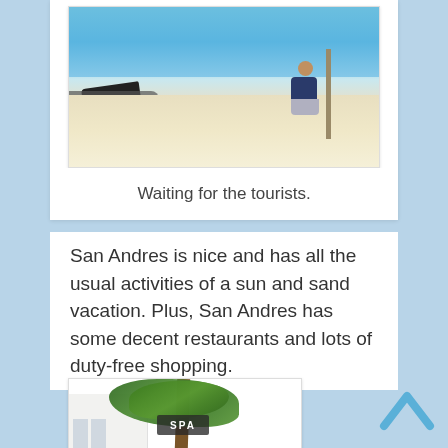[Figure (photo): A person sitting on a beach near a boat motor and wooden pole, with blue water in the background and white sand in the foreground.]
Waiting for the tourists.
San Andres is nice and has all the usual activities of a sun and sand vacation. Plus, San Andres has some decent restaurants and lots of duty-free shopping.
[Figure (photo): Palm trees with a SPA sign visible, and a white building in the background.]